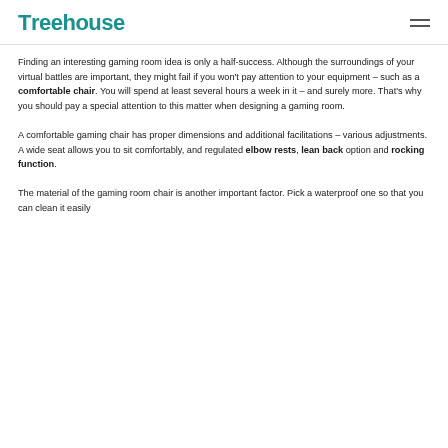Treehouse
Finding an interesting gaming room idea is only a half-success. Although the surroundings of your virtual battles are important, they might fail if you won't pay attention to your equipment – such as a comfortable chair. You will spend at least several hours a week in it – and surely more. That's why you should pay a special attention to this matter when designing a gaming room.
A comfortable gaming chair has proper dimensions and additional facilitations – various adjustments. A wide seat allows you to sit comfortably, and regulated elbow rests, lean back option and rocking function.
The material of the gaming room chair is another important factor. Pick a waterproof one so that you can clean it easily